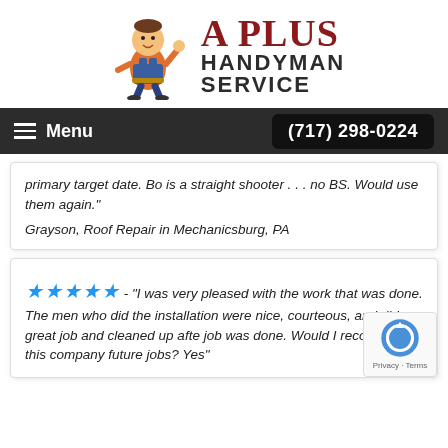[Figure (logo): A Plus Handyman Service logo with cartoon handyman mascot and red/dark text]
Menu  (717) 298-0224
primary target date. Bo is a straight shooter . . . no BS. Would use them again."
Grayson, Roof Repair in Mechanicsburg, PA
★★★★★ - "I was very pleased with the work that was done. The men who did the installation were nice, courteous, and did a great job and cleaned up after job was done. Would I recommend this company for future jobs? Yes"